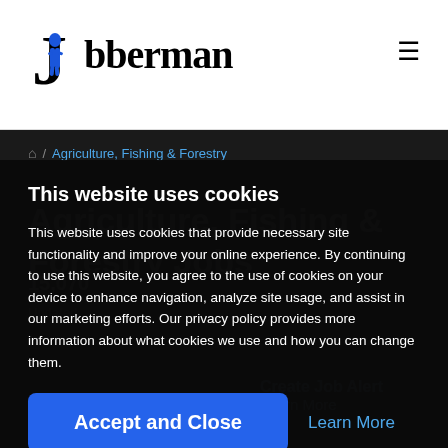Jobberman
Agriculture, Fishing & Forestry
This website uses cookies
This website uses cookies that provide necessary site functionality and improve your online experience. By continuing to use this website, you agree to the use of cookies on your device to enhance navigation, analyze site usage, and assist in our marketing efforts. Our privacy policy provides more information about what cookies we use and how you can change them.
Accept and Close
Learn More